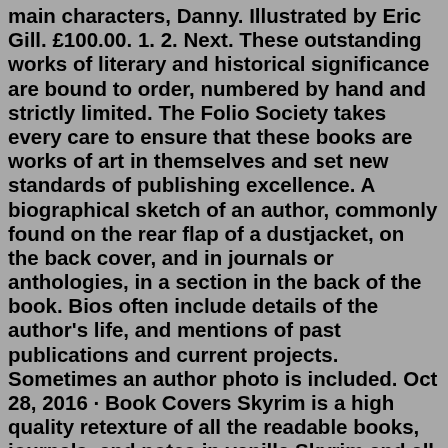main characters, Danny. Illustrated by Eric Gill. £100.00. 1. 2. Next. These outstanding works of literary and historical significance are bound to order, numbered by hand and strictly limited. The Folio Society takes every care to ensure that these books are works of art in themselves and set new standards of publishing excellence. A biographical sketch of an author, commonly found on the rear flap of a dustjacket, on the back cover, and in journals or anthologies, in a section in the back of the book. Bios often include details of the author's life, and mentions of past publications and current projects. Sometimes an author photo is included. Oct 28, 2016 · Book Covers Skyrim is a high quality retexture of all the readable books, journals, and notes in vanilla Skyrim and all three DLC. It gives each book and journal its own unique cover and adds many additional paper styles to the notes. Spell Tomes are included in the mod with optimised meshes and a replacement texture for each school. Books by Trope; Series Collections; Shop. Visit the Shop; Signed Books; View;